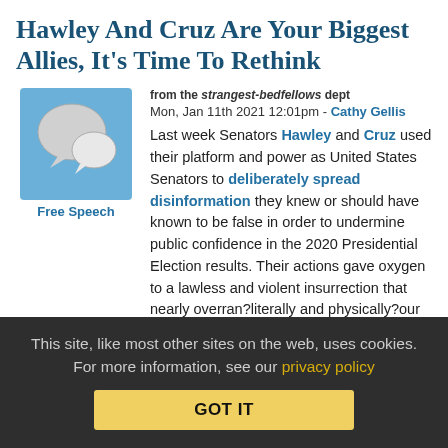Hawley And Cruz Are Your Biggest Allies, It's Time To Rethink
from the strangest-bedfellows dept
Mon, Jan 11th 2021 12:01pm - Cathy Gellis
[Figure (illustration): Blue square icon with two speech bubbles (chat icon), labeled Free Speech below]
Last week Senators Hawley and Cruz used their platform and power as United States Senators to deliberately spread disinformation they knew or should have known to be false in order to undermine public confidence in the 2020 Presidential Election results. Their actions gave oxygen to a lawless and violent insurrection that nearly overran?literally and physically?our democratic government.
They should have known better and there is every reason to believe they did know better. There is every reason to believe that they
This site, like most other sites on the web, uses cookies. For more information, see our privacy policy
GOT IT